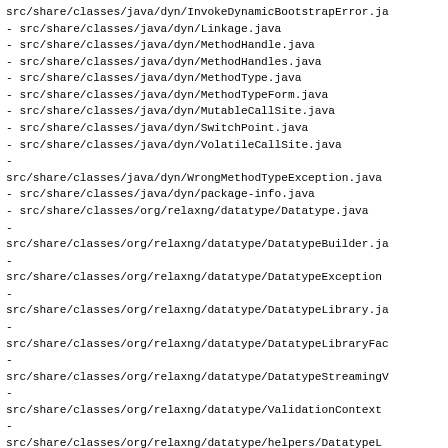src/share/classes/java/dyn/InvokeDynamicBootstrapError.ja
- src/share/classes/java/dyn/Linkage.java
- src/share/classes/java/dyn/MethodHandle.java
- src/share/classes/java/dyn/MethodHandles.java
- src/share/classes/java/dyn/MethodType.java
- src/share/classes/java/dyn/MethodTypeForm.java
- src/share/classes/java/dyn/MutableCallSite.java
- src/share/classes/java/dyn/SwitchPoint.java
- src/share/classes/java/dyn/VolatileCallSite.java
- src/share/classes/java/dyn/WrongMethodTypeException.java
- src/share/classes/java/dyn/package-info.java
- src/share/classes/org/relaxng/datatype/Datatype.java
- src/share/classes/org/relaxng/datatype/DatatypeBuilder.ja
- src/share/classes/org/relaxng/datatype/DatatypeException
- src/share/classes/org/relaxng/datatype/DatatypeLibrary.ja
- src/share/classes/org/relaxng/datatype/DatatypeLibraryFac
- src/share/classes/org/relaxng/datatype/DatatypeStreamingV
- src/share/classes/org/relaxng/datatype/ValidationContext
- src/share/classes/org/relaxng/datatype/helpers/DatatypeL
- src/share/classes/org/relaxng/datatype/helpers/ParameterI